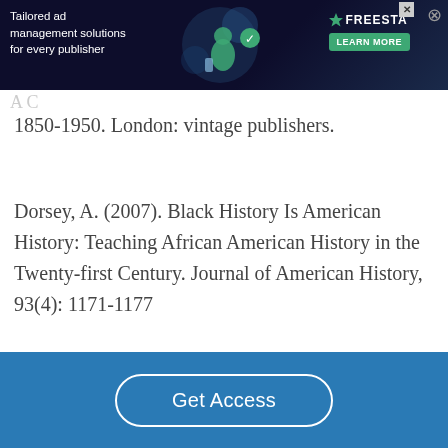[Figure (other): Advertisement banner for Freestar ad management platform with dark background, featuring text 'Tailored ad management solutions for every publisher', a green character graphic, and a 'LEARN MORE' button]
1850-1950. London: vintage publishers.
Dorsey, A. (2007). Black History Is American History: Teaching African American History in the Twenty-first Century. Journal of American History, 93(4): 1171-1177
Lawrence, L. (2007). Black Culture and Black
Get Access